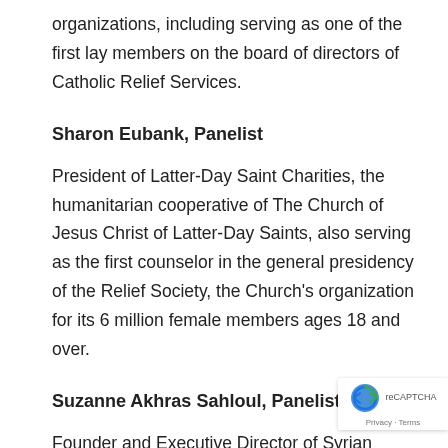organizations, including serving as one of the first lay members on the board of directors of Catholic Relief Services.
Sharon Eubank, Panelist
President of Latter-Day Saint Charities, the humanitarian cooperative of The Church of Jesus Christ of Latter-Day Saints, also serving as the first counselor in the general presidency of the Relief Society, the Church's organization for its 6 million female members ages 18 and over.
Suzanne Akhras Sahloul, Panelist
Founder and Executive Director of Syrian Community Network, a US-based organization advocating for